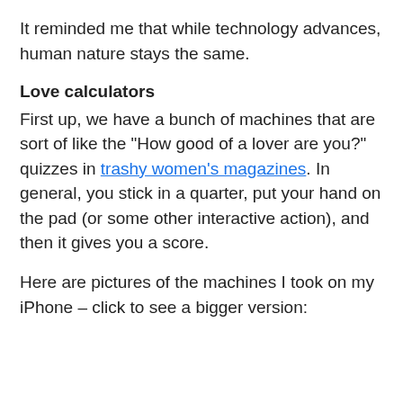It reminded me that while technology advances, human nature stays the same.
Love calculators
First up, we have a bunch of machines that are sort of like the "How good of a lover are you?" quizzes in trashy women's magazines. In general, you stick in a quarter, put your hand on the pad (or some other interactive action), and then it gives you a score.
Here are pictures of the machines I took on my iPhone – click to see a bigger version: